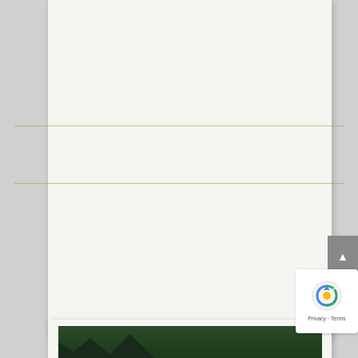[Figure (photo): Book cover showing author name CHERYL COLWELL in white serif font on dark forest/night sky background with gold medal badge]
THE MONTEBELLIS FAMILY SERIES
ADRIANA'S SECRET
The betrayal alone would have crushed a lesser woman.
AWARD WINNING | HISTORICAL | MYSTERY | SUSPENSE | ROMANCE
[Figure (photo): Bottom partial book cover image with dark green forest background]
[Figure (other): reCAPTCHA badge with Privacy - Terms text]